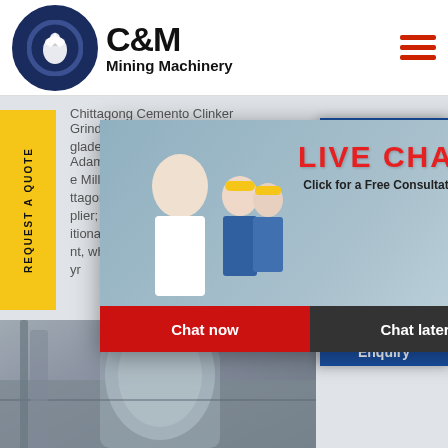[Figure (logo): C&M Mining Machinery logo with eagle in circular gear emblem and company name]
Chittagong Cemento Clinker Grindingpany Ltd
bladesh Jute Mills Corporation Adamjee Court
e Mills Lt... ...gladesh
ttagong... ...Hours ...line
plier; 20... ...ltional c... ...nt, which would have the capac...
yr
[Figure (screenshot): Live Chat popup overlay showing workers in hard hats, LIVE CHAT text in red, 'Click for a Free Consultation', Chat now and Chat later buttons]
[Figure (screenshot): Right-side customer support chat widget showing agent with headset, Click to Chat button, and Enquiry section]
[Figure (photo): Bottom industrial machinery/cement plant equipment photo]